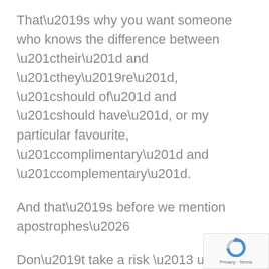That’s why you want someone who knows the difference between “their” and “they’re”, “should of” and “should have”, or my particular favourite, “complimentary” and “complementary”.
And that’s before we mention apostrophes…
Don’t take a risk – use our Social Media Management Services.
3. Deliver
We’ll deliv...